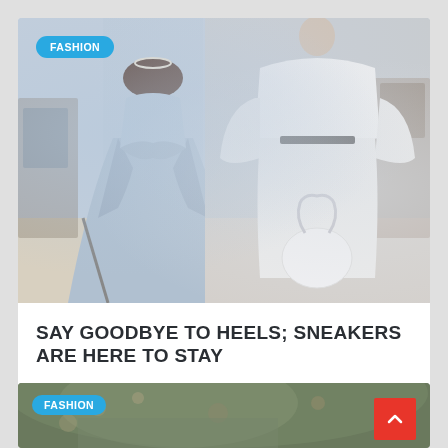[Figure (photo): Fashion runway photo split view: left side shows model in light blue strapless voluminous gown, right side shows model in white oversized structured outfit with white bag, audience seated in background]
SAY GOODBYE TO HEELS; SNEAKERS ARE HERE TO STAY
[Figure (photo): Close-up of person wearing floral/botanical patterned hat or headpiece, FASHION badge overlay, red back-to-top button in corner]